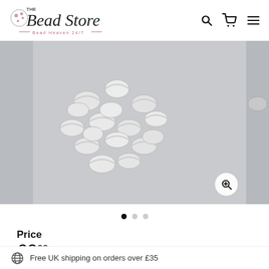The Bead Store - Bead Heaven 24/7
[Figure (photo): Close-up photo of many small silver crimping cover beads scattered on a light grey background]
Price
£0.99
Free UK shipping on orders over £35